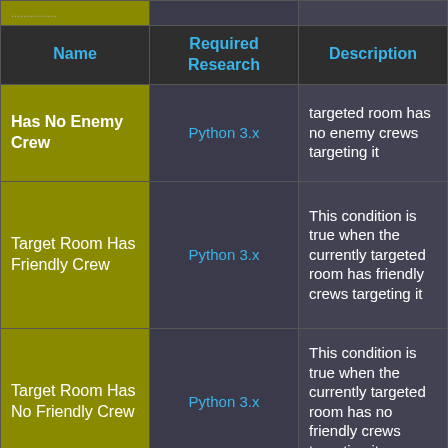| Name | Required Research | Description |
| --- | --- | --- |
| Has No Enemy Crew | Python 3.x | targeted room has no enemy crews targeting it |
| Target Room Has Friendly Crew | Python 3.x | This condition is true when the currently targeted room has friendly crews targeting it |
| Target Room Has No Friendly Crew | Python 3.x | This condition is true when the currently targeted room has no friendly crews targeting it |
| Target Room Destroyed | Python 3.x | This condition is true when the currently targeted room has no... |